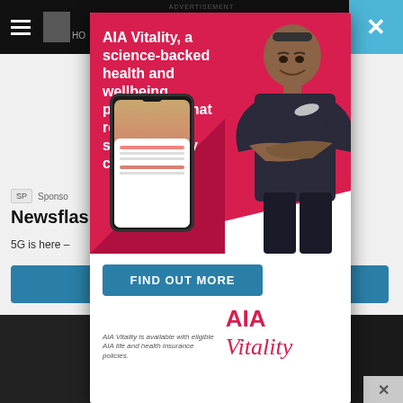ADVERTISEMENT
[Figure (screenshot): Website background showing navigation bar with hamburger menu and logo, hero image strip, article teaser with 'SP Sponsored' badge, headline 'Newsflash' and '5G is here –' text, blue button bar, and thumbnail strip at bottom]
[Figure (infographic): AIA Vitality advertisement overlay panel with red background, white diagonal cut, headline text 'AIA Vitality, a science-backed health and wellbeing programme that rewards your small, healthy choices.', phone mockup showing app, athlete in Nike sportswear with arms crossed, 'FIND OUT MORE' button, disclaimer text, and AIA Vitality logo]
AIA Vitality, a science-backed health and wellbeing programme that rewards your small, healthy choices.
FIND OUT MORE
AIA Vitality is available with eligible AIA life and health insurance policies.
AIA Vitality